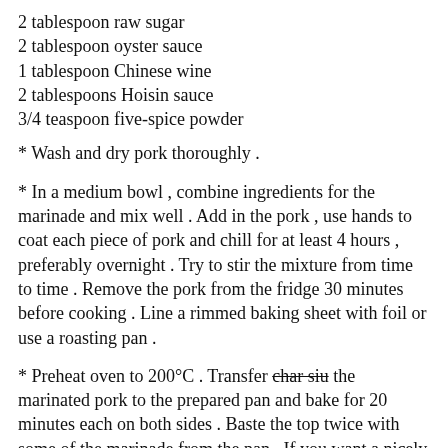2 tablespoon raw sugar
2 tablespoon oyster sauce
1 tablespoon Chinese wine
2 tablespoons Hoisin sauce
3/4 teaspoon five-spice powder
* Wash and dry pork thoroughly .
* In a medium bowl , combine ingredients for the marinade and mix well . Add in the pork , use hands to coat each piece of pork and chill for at least 4 hours , preferably overnight . Try to stir the mixture from time to time . Remove the pork from the fridge 30 minutes before cooking . Line a rimmed baking sheet with foil or use a roasting pan .
* Preheat oven to 200°C . Transfer char siu the marinated pork to the prepared pan and bake for 20 minutes each on both sides . Baste the top twice with some of the marinade from the pan . If you want a nicely charred surface , turn oven temperature to the highest setting , move the wire rack 3-inches above the heat source ( I'm using a counter top oven ) and cook for about 2 minutes on both sides . Take out from the oven and let rest for 10 minutes